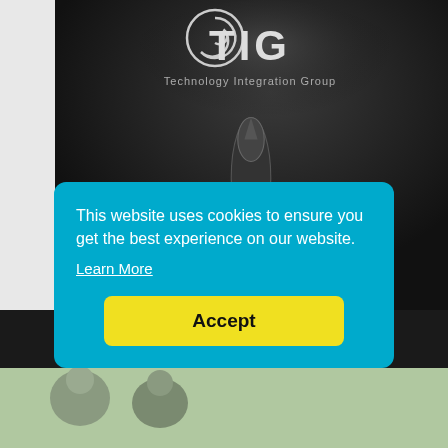[Figure (photo): TIG (Technology Integration Group) banner/rollup display showing the TIG spiral logo, company name and tagline 'Technology Integration Group', with a stealth fighter jet aircraft image on a dark background. Left side shows a white wall. Bottom shows partial view of people.]
This website uses cookies to ensure you get the best experience on our website.
Learn More
Accept